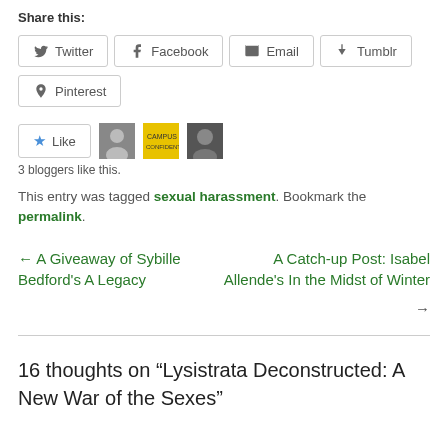Share this:
Twitter
Facebook
Email
Tumblr
Pinterest
3 bloggers like this.
This entry was tagged sexual harassment. Bookmark the permalink.
← A Giveaway of Sybille Bedford’s A Legacy
A Catch-up Post: Isabel Allende’s In the Midst of Winter →
16 thoughts on “Lysistrata Deconstructed: A New War of the Sexes”